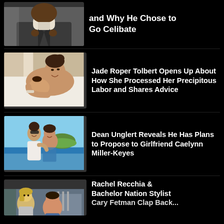[Figure (photo): Man in gray suit adjusting collar, partial view (top article)]
and Why He Chose to Go Celibate
[Figure (photo): Woman lying in hospital bed smiling and holding newborn baby]
Jade Roper Tolbert Opens Up About How She Processed Her Precipitous Labor and Shares Advice
[Figure (photo): Couple standing outdoors near ocean with island in background]
Dean Unglert Reveals He Has Plans to Propose to Girlfriend Caelynn Miller-Keyes
[Figure (photo): Two women in a clothing store, partial view (bottom article)]
Rachel Recchia & Bachelor Nation Stylist Cary Fetman Clap Back...